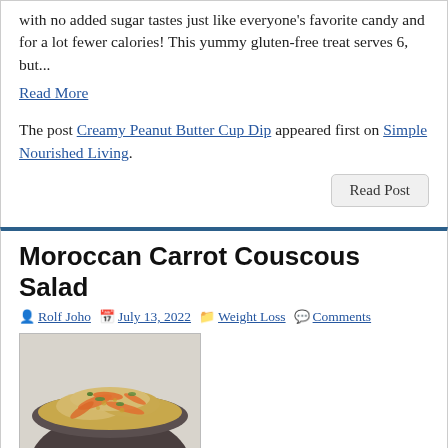with no added sugar tastes just like everyone's favorite candy and for a lot fewer calories! This yummy gluten-free treat serves 6, but...
Read More
The post Creamy Peanut Butter Cup Dip appeared first on Simple Nourished Living.
Read Post
Moroccan Carrot Couscous Salad
Rolf Joho  July 13, 2022  Weight Loss  Comments
[Figure (photo): A bowl of Moroccan Carrot Couscous Salad with Israeli couscous, shredded carrots, and herbs, served in a dark ceramic bowl on a light marble surface.]
A nice change of pace from your typical pasta salad, this Moroccan-Spiced Carrot Couscous Salad uses Israeli